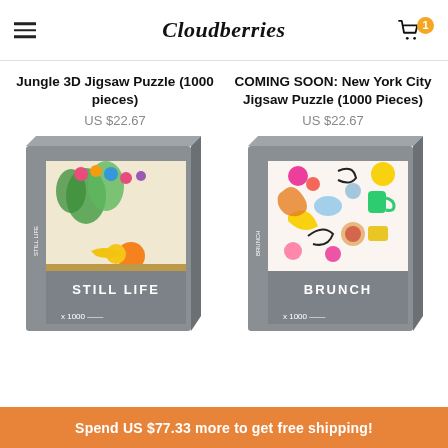Cloudberries
Jungle 3D Jigsaw Puzzle (1000 pieces)
US $22.67
COMING SOON: New York City Jigsaw Puzzle (1000 Pieces)
US $22.67
[Figure (photo): Puzzle box for Still Life 1000-piece jigsaw puzzle, showing a colorful still life painting with flowers, fruits and plants]
[Figure (photo): Puzzle box for Brunch 1000-piece jigsaw puzzle, showing a colorful abstract illustration with flowers, food and doodles]
Spend US $77.33 more to get free shipping!